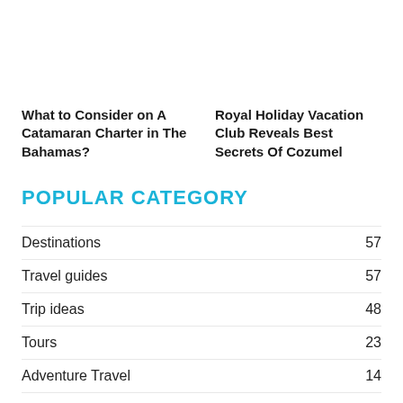What to Consider on A Catamaran Charter in The Bahamas?
Royal Holiday Vacation Club Reveals Best Secrets Of Cozumel
POPULAR CATEGORY
Destinations 57
Travel guides 57
Trip ideas 48
Tours 23
Adventure Travel 14
Travel 13